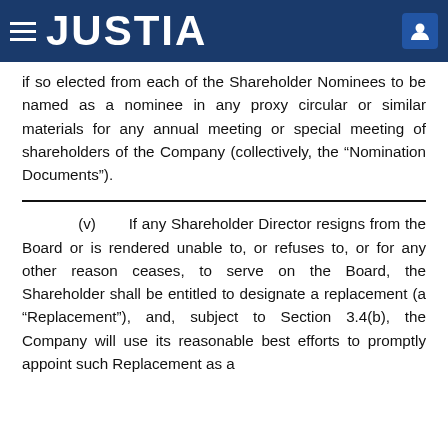JUSTIA
if so elected from each of the Shareholder Nominees to be named as a nominee in any proxy circular or similar materials for any annual meeting or special meeting of shareholders of the Company (collectively, the “Nomination Documents”).
(v) If any Shareholder Director resigns from the Board or is rendered unable to, or refuses to, or for any other reason ceases, to serve on the Board, the Shareholder shall be entitled to designate a replacement (a “Replacement”), and, subject to Section 3.4(b), the Company will use its reasonable best efforts to promptly appoint such Replacement as a